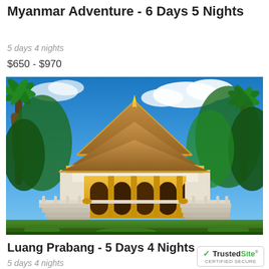Myanmar Adventure - 6 Days 5 Nights
5 days 4 nights
$650 - $970
[Figure (photo): A golden Buddhist temple with multi-tiered roofs surrounded by palm trees and lush green vegetation under a bright blue sky with white clouds. White stone staircases lead up to the temple entrance.]
Luang Prabang - 5 Days 4 Nights
5 days 4 nights
[Figure (logo): TrustedSite Certified Secure badge with green checkmark]